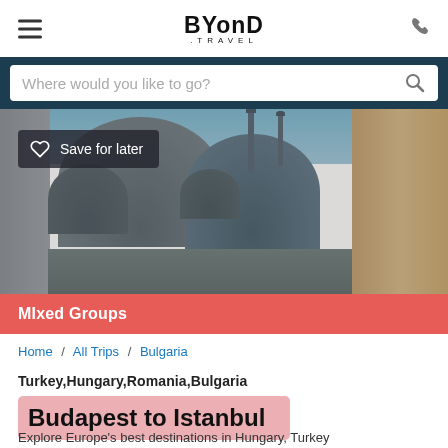BYonD .TRAVEL
Where would you like to go?
[Figure (photo): Aerial view of Istanbul domes and minarets with stone walls]
Save for later
Mixed Groups
Home / All Trips / Bulgaria
Turkey,Hungary,Romania,Bulgaria
Budapest to Istanbul
Explore Europe's best destinations in Hungary, Turkey